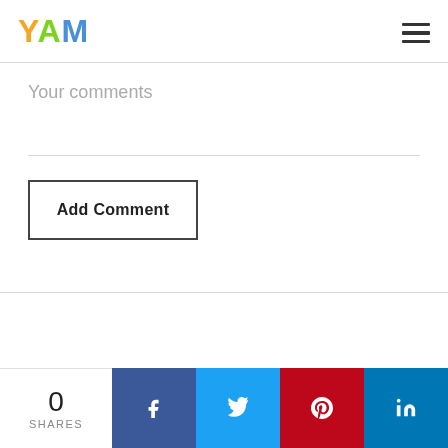YAM
Your comments
Add Comment
© 2022 JMI
Terms & Privacy    Contact
0 SHARES